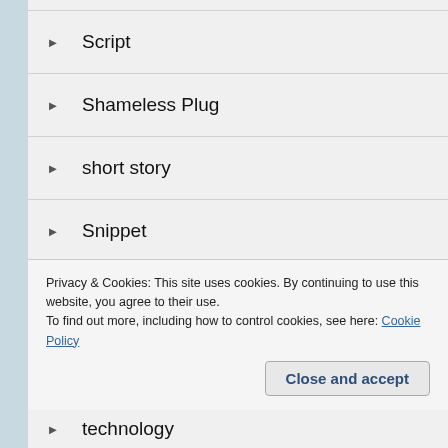Script
Shameless Plug
short story
Snippet
Sonnet
sports
story
Superhero (truncated)
Privacy & Cookies: This site uses cookies. By continuing to use this website, you agree to their use. To find out more, including how to control cookies, see here: Cookie Policy
technology